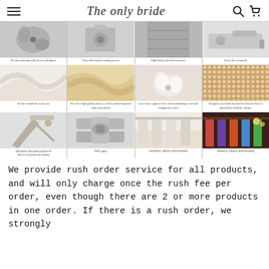The only bride
[Figure (photo): 4x3 grid of product/process images showing wedding dress details: embroidery, sewing, lace, fabric (silk/chiffon), lace flowers, sequins, scissors/cutting, zipper, wedding dress showroom, formal dress showroom. Each image has a small caption below.]
We provide rush order service for all products, and will only charge once the rush fee per order, even though there are 2 or more products in one order. If there is a rush order, we strongly